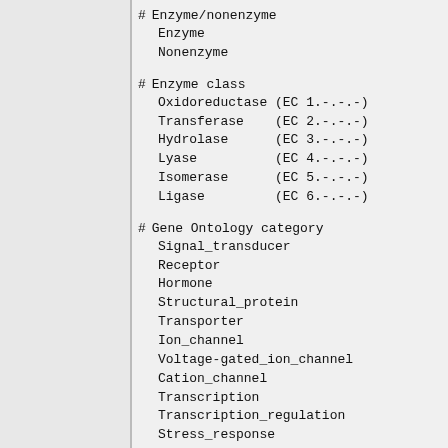# Enzyme/nonenzyme
    Enzyme
    Nonenzyme
# Enzyme class
    Oxidoreductase (EC 1.-.-.-)
    Transferase    (EC 2.-.-.-)
    Hydrolase      (EC 3.-.-.-)
    Lyase          (EC 4.-.-.-)
    Isomerase      (EC 5.-.-.-)
    Ligase         (EC 6.-.-.-)
# Gene Ontology category
    Signal_transducer
    Receptor
    Hormone
    Structural_protein
    Transporter
    Ion_channel
    Voltage-gated_ion_channel
    Cation_channel
    Transcription
    Transcription_regulation
    Stress_response
    Immune_response
    Growth_factor
    Metal_ion_transport
//